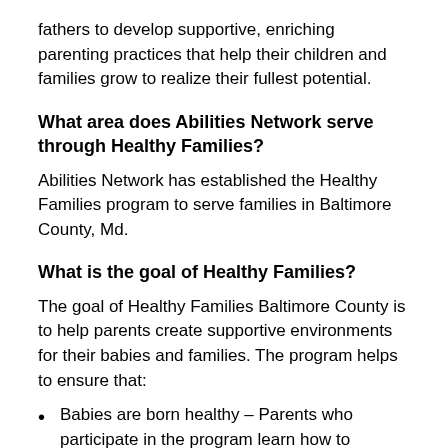fathers to develop supportive, enriching parenting practices that help their children and families grow to realize their fullest potential.
What area does Abilities Network serve through Healthy Families?
Abilities Network has established the Healthy Families program to serve families in Baltimore County, Md.
What is the goal of Healthy Families?
The goal of Healthy Families Baltimore County is to help parents create supportive environments for their babies and families. The program helps to ensure that:
Babies are born healthy – Parents who participate in the program learn how to improve their chances of giving birth to a healthy baby.
Children grow healthy – Families who participate...